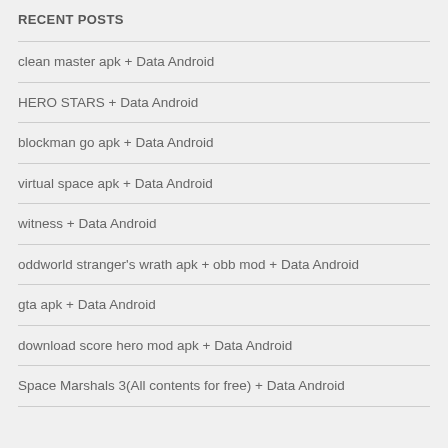RECENT POSTS
clean master apk + Data Android
HERO STARS + Data Android
blockman go apk + Data Android
virtual space apk + Data Android
witness + Data Android
oddworld stranger's wrath apk + obb mod + Data Android
gta apk + Data Android
download score hero mod apk + Data Android
Space Marshals 3(All contents for free) + Data Android